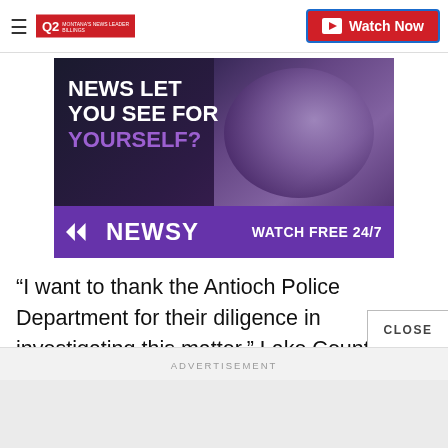Q2 MONTANA'S NEWS LEADER BILLINGS — Watch Now
[Figure (screenshot): Newsy advertisement banner showing 'NEWS LET YOU SEE FOR YOURSELF?' headline with dark background, silhouette figures, purple Newsy logo, and 'WATCH FREE 24/7' call to action on purple banner]
“I want to thank the Antioch Police Department for their diligence in investigating this matter,” Lake County State’s Attorney Michael Nerheim said in a statement.
ADVERTISEMENT